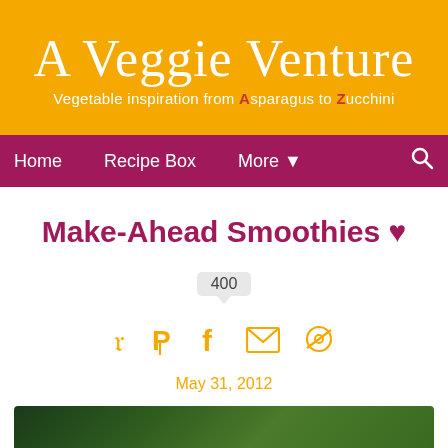A Veggie Venture — Vegetable inspiration from Asparagus to Zucchini
Home | Recipe Box | More | Search
Make-Ahead Smoothies ♥
400
May 31, 2012
[Figure (photo): Partial view of a smoothie or vegetable photo at the bottom of the page]